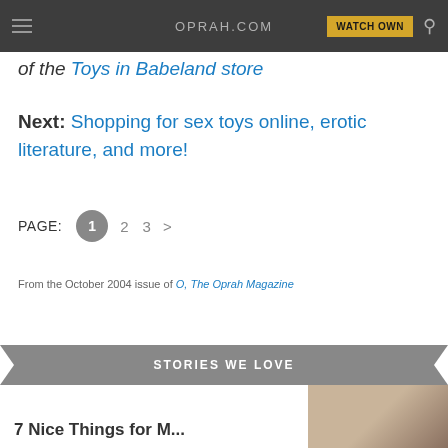OPRAH.COM
of the Toys in Babeland store
Next: Shopping for sex toys online, erotic literature, and more!
PAGE: 1 2 3 >
From the October 2004 issue of O, The Oprah Magazine
STORIES WE LOVE
7 Nice Things for M...